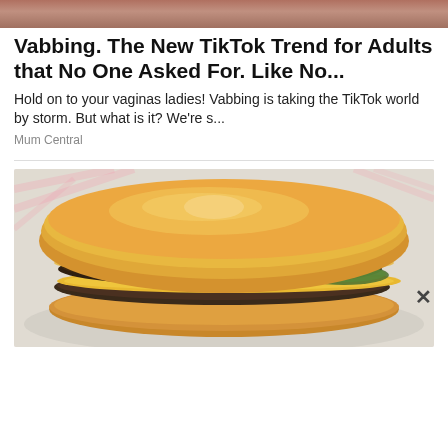[Figure (photo): Partial top image strip showing a cropped photo, brownish-pink tones]
Vabbing. The New TikTok Trend for Adults that No One Asked For. Like No...
Hold on to your vaginas ladies! Vabbing is taking the TikTok world by storm. But what is it? We're s...
Mum Central
[Figure (photo): Close-up photo of a double cheeseburger with melted cheese and pickles, wrapped in fast food paper, photographed from the side]